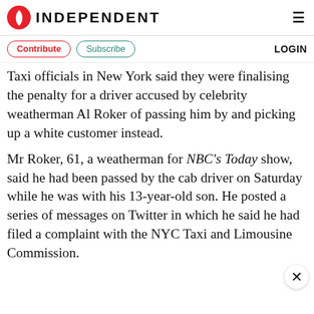INDEPENDENT
Contribute   Subscribe   LOGIN
Taxi officials in New York said they were finalising the penalty for a driver accused by celebrity weatherman Al Roker of passing him by and picking up a white customer instead.
Mr Roker, 61, a weatherman for NBC's Today show, said he had been passed by the cab driver on Saturday while he was with his 13-year-old son. He posted a series of messages on Twitter in which he said he had filed a complaint with the NYC Taxi and Limousine Commission.